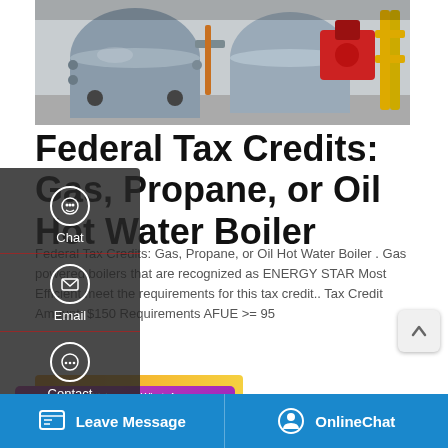[Figure (photo): Industrial gas/propane hot water boilers in a factory setting — large cylindrical blue-gray boilers with red motor/burner assemblies and yellow gas pipes]
Federal Tax Credits: Gas, Propane, or Oil Hot Water Boiler
Federal Tax Credits: Gas, Propane, or Oil Hot Water Boiler . Gas powered boilers that are recognized as ENERGY STAR Most Efficient meet the requirements for this tax credit.. Tax Credit Amount: $150 Requirements AFUE >= 95
[Figure (screenshot): Get a Quote button (yellow/orange gradient)]
[Figure (screenshot): Save Stickers on WhatsApp panel with phone and emoji icons (purple/pink gradient)]
[Figure (screenshot): Left sidebar overlay with Chat, Email, Contact options on dark semi-transparent background]
[Figure (screenshot): Bottom navigation bar with Leave Message and OnlineChat buttons on blue background]